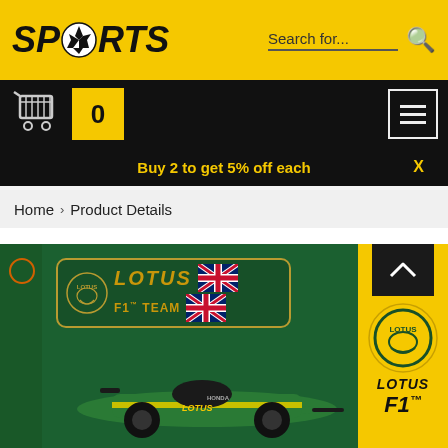SPORTS - Search for...
0
Buy 2 to get 5% off each  X
Home > Product Details
[Figure (photo): Lotus F1 Team product image showing a green and yellow Formula 1 racing car with Lotus F1 Team branding, badge with Union Jack flag, and yellow Lotus logo panel on the right]